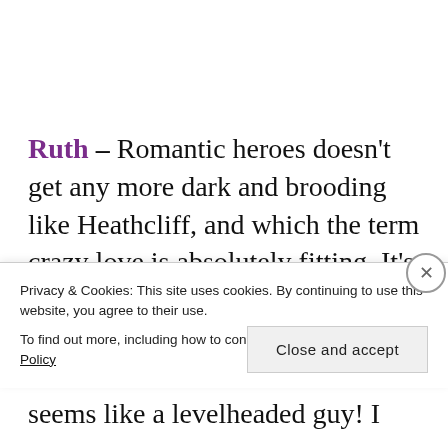Ruth – Romantic heroes doesn't get any more dark and brooding like Heathcliff, and which the term crazy love is absolutely fitting. It's even harder to root for Emily Brontë's hero as he makes even her sister Charlotte's Rochester seems like a levelheaded guy! I
Privacy & Cookies: This site uses cookies. By continuing to use this website, you agree to their use.
To find out more, including how to control cookies, see here: Cookie Policy
Close and accept